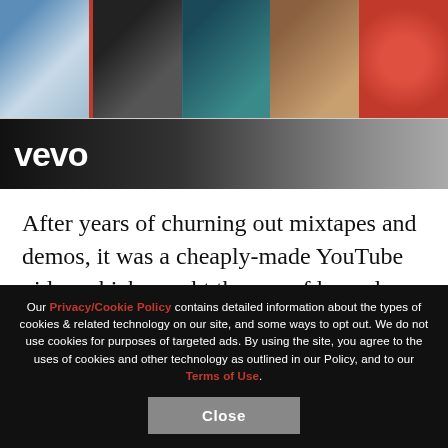[Figure (photo): Row of five thumbnail images at the top of the page, with the second one having an orange/red left border highlight]
[Figure (screenshot): Vevo logo banner — dark background with white vevo text on left, blurred figure on right]
After years of churning out mixtapes and demos, it was a cheaply-made YouTube video which caught the eye of legendary hip-hop producer Dr. Dre. But when the call actually came, Kendrick told Howard he thought it was a joke and hung up.
“We was eating at Chili’s, I’ll never forget it …
Our Privacy/Cookie Policy contains detailed information about the types of cookies & related technology on our site, and some ways to opt out. We do not use cookies for purposes of targeted ads. By using the site, you agree to the uses of cookies and other technology as outlined in our Policy, and to our Terms of Use.